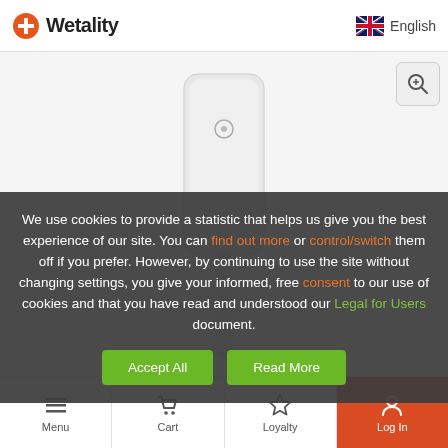Wetality | English
[Figure (photo): White electronic device (likely a charger or medical device) photographed on white background]
We use cookies to provide a statistic that helps us give you the best experience of our site. You can find out more or control/switch them off if you prefer. However, by continuing to use the site without changing settings, you give your informed, free consent to our use of cookies and that you have read and understood our Legal for Users document.
Menu | Cart | Loyalty | Log In